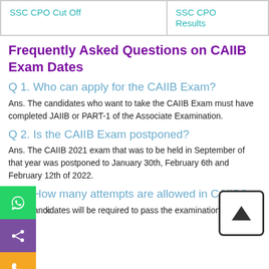| SSC CPO Cut Off | SSC CPO Results |
Frequently Asked Questions on CAIIB Exam Dates
Q 1. Who can apply for the CAIIB Exam?
Ans. The candidates who want to take the CAIIB Exam must have completed JAIIB or PART-1 of the Associate Examination.
Q 2. Is the CAIIB Exam postponed?
Ans. The CAIIB 2021 exam that was to be held in September of that year was postponed to January 30th, February 6th and February 12th of 2022.
Q 3. How many attempts are allowed in CAIIB?
Ans. Candidates will be required to pass the examination